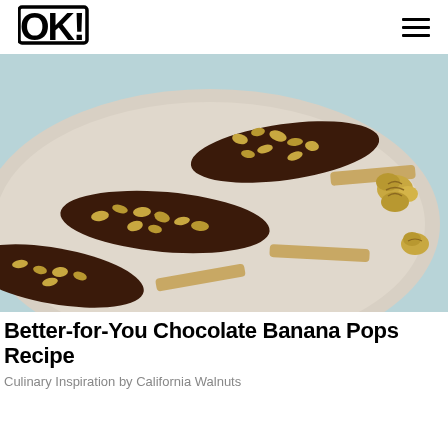OK!
[Figure (photo): Chocolate-dipped banana pops coated with chopped walnuts on popsicle sticks, arranged on a light gray ceramic plate with a light blue background. Additional walnut pieces are visible on the plate.]
Better-for-You Chocolate Banana Pops Recipe
Culinary Inspiration by California Walnuts